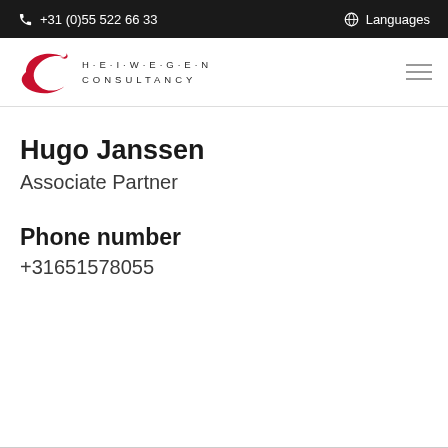+31 (0)55 522 66 33   Languages
[Figure (logo): Heiwegen Consultancy logo with stylized red C swoosh and dot-separated letters H·E·I·W·E·G·E·N above CONSULTANCY]
Hugo Janssen
Associate Partner
Phone number
+31651578055